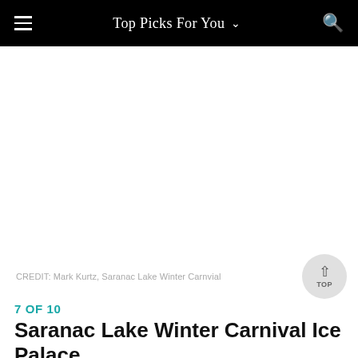Top Picks For You
[Figure (photo): Large white/blank image area representing a photo of Saranac Lake Winter Carnival Ice Palace]
CREDIT: Mark Kurtz, Saranac Lake Winter Carnvial
7 OF 10
Saranac Lake Winter Carnival Ice Palace